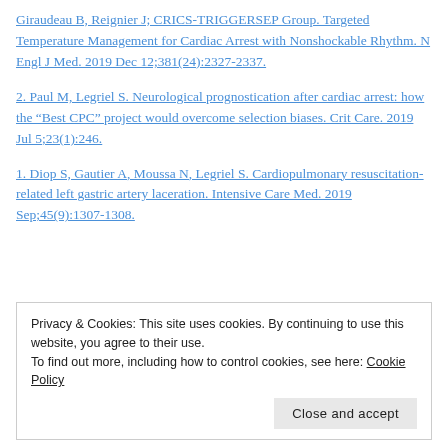Giraudeau B, Reignier J; CRICS-TRIGGERSEP Group. Targeted Temperature Management for Cardiac Arrest with Nonshockable Rhythm. N Engl J Med. 2019 Dec 12;381(24):2327-2337.
2. Paul M, Legriel S. Neurological prognostication after cardiac arrest: how the "Best CPC" project would overcome selection biases. Crit Care. 2019 Jul 5;23(1):246.
1. Diop S, Gautier A, Moussa N, Legriel S. Cardiopulmonary resuscitation-related left gastric artery laceration. Intensive Care Med. 2019 Sep;45(9):1307-1308.
Privacy & Cookies: This site uses cookies. By continuing to use this website, you agree to their use. To find out more, including how to control cookies, see here: Cookie Policy